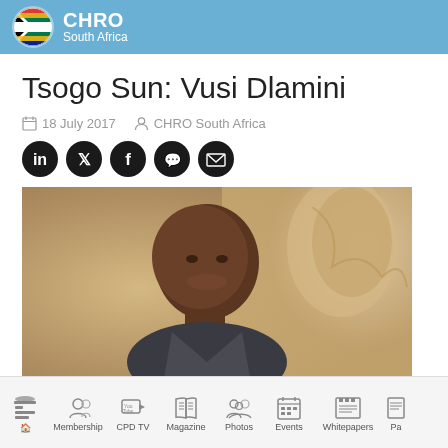CHRO South Africa
Tsogo Sun: Vusi Dlamini
18 July 2017   CHRO South Africa
[Figure (photo): Portrait photo of Vusi Dlamini smiling, outdoor background]
Membership  CPD TV  Magazine  Photos  Events  Whitepapers  Pa...